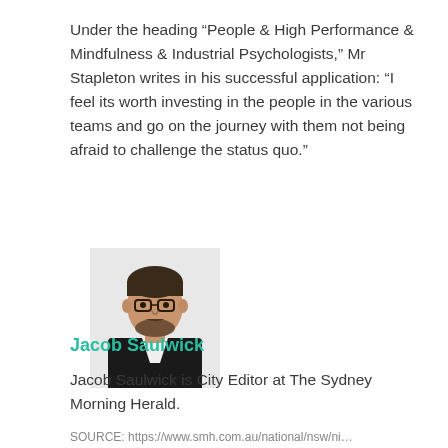Under the heading “People & High Performance & Mindfulness & Industrial Psychologists,” Mr Stapleton writes in his successful application: “I feel its worth investing in the people in the various teams and go on the journey with them not being afraid to challenge the status quo.”
[Figure (photo): Headshot photo of Jacob Saulwick, a man with dark hair, glasses, and a beard wearing a suit jacket with white collar]
Jacob Saulwick
Jacob Saulwick is City Editor at The Sydney Morning Herald.
SOURCE: https://...